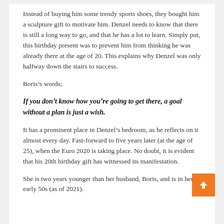Instead of buying him some trendy sports shoes, they bought him a sculpture gift to motivate him. Denzel needs to know that there is still a long way to go, and that he has a lot to learn. Simply put, this birthday present was to prevent him from thinking he was already there at the age of 20. This explains why Denzel was only halfway down the stairs to success.
Boris’s words;
If you don’t know how you’re going to get there, a goal without a plan is just a wish.
It has a prominent place in Denzel’s bedroom, as he reflects on it almost every day. Fast-forward to five years later (at the age of 25), when the Euro 2020 is taking place. No doubt, it is evident that his 20th birthday gift has witnessed its manifestation.
She is two years younger than her husband, Boris, and is in her early 50s (as of 2021).